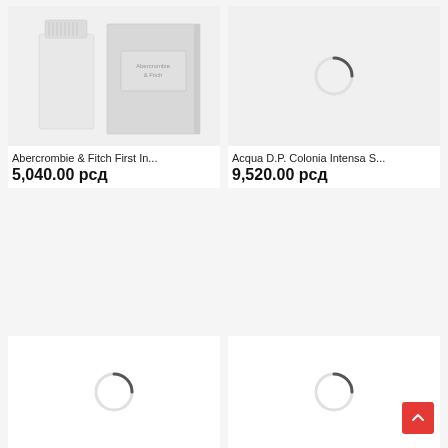[Figure (photo): Product image of Abercrombie & Fitch First Instinct perfume bottle and box in light grey/white colors]
Abercrombie & Fitch First In...
5,040.00 рсд
[Figure (photo): Loading spinner circle indicating image is loading for Acqua D.P. Colonia Intensa S...]
Acqua D.P. Colonia Intensa S...
9,520.00 рсд
[Figure (photo): Loading spinner circle indicating image is loading for third product]
[Figure (photo): Loading spinner circle indicating image is loading for fourth product]